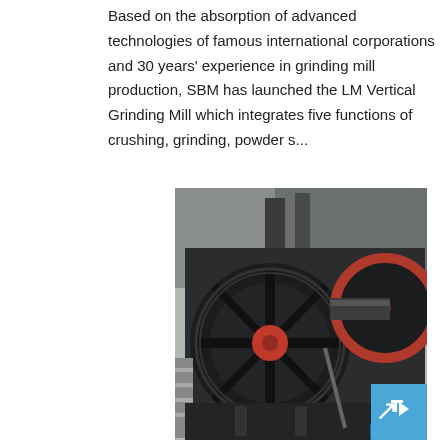Based on the absorption of advanced technologies of famous international corporations and 30 years' experience in grinding mill production, SBM has launched the LM Vertical Grinding Mill which integrates five functions of crushing, grinding, powder s...
[Figure (photo): Industrial grinding mill machinery with large black pulley/flywheel and red hub, mounted on heavy steel frame at a construction or industrial site. A worker in a red hard hat is visible in the lower right. A blue arrow badge/button is overlaid in the bottom-right corner of the image.]